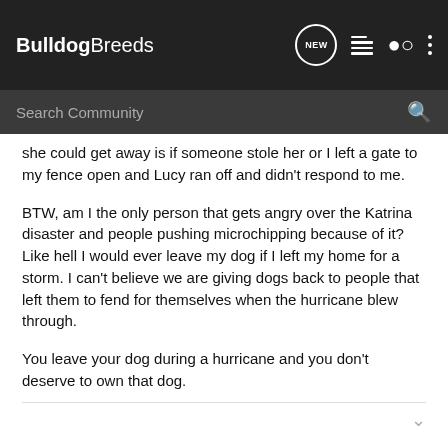BulldogBreeds
she could get away is if someone stole her or I left a gate to my fence open and Lucy ran off and didn't respond to me.
BTW, am I the only person that gets angry over the Katrina disaster and people pushing microchipping because of it? Like hell I would ever leave my dog if I left my home for a storm. I can't believe we are giving dogs back to people that left them to fend for themselves when the hurricane blew through.
You leave your dog during a hurricane and you don't deserve to own that dog.